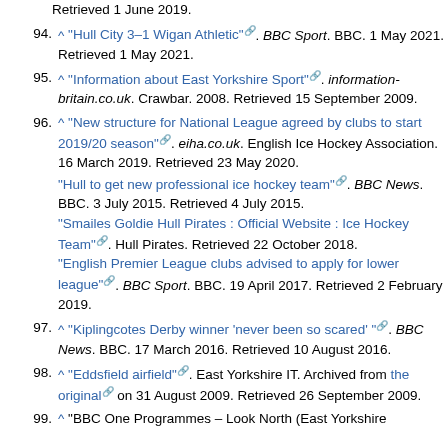94. ^ "Hull City 3–1 Wigan Athletic". BBC Sport. BBC. 1 May 2021. Retrieved 1 May 2021.
95. ^ "Information about East Yorkshire Sport". information-britain.co.uk. Crawbar. 2008. Retrieved 15 September 2009.
96. ^ "New structure for National League agreed by clubs to start 2019/20 season". eiha.co.uk. English Ice Hockey Association. 16 March 2019. Retrieved 23 May 2020. "Hull to get new professional ice hockey team". BBC News. BBC. 3 July 2015. Retrieved 4 July 2015. "Smailes Goldie Hull Pirates : Official Website : Ice Hockey Team". Hull Pirates. Retrieved 22 October 2018. "English Premier League clubs advised to apply for lower league". BBC Sport. BBC. 19 April 2017. Retrieved 2 February 2019.
97. ^ "Kiplingcotes Derby winner 'never been so scared'". BBC News. BBC. 17 March 2016. Retrieved 10 August 2016.
98. ^ "Eddsfield airfield". East Yorkshire IT. Archived from the original on 31 August 2009. Retrieved 26 September 2009.
99. ^ "BBC One Programmes – Look North (East Yorkshire...